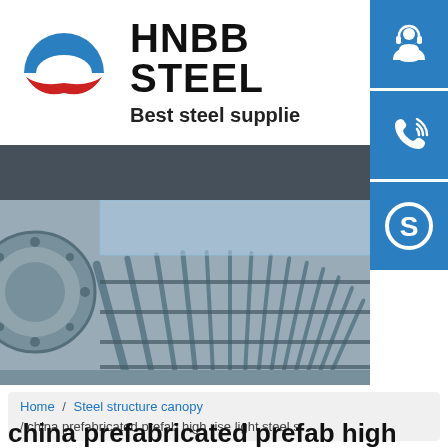[Figure (logo): HNBB Steel company logo with circular blue and red arc symbol resembling an Obama-style logo, with bold text HNBB STEEL and tagline Best steel supplie]
[Figure (screenshot): Interior photo of a steel structure canopy/tunnel with arched steel framing and roof panels]
Home / Steel structure canopy / china prefabricated prefab high rise light steel s
china prefabricated prefab high rise